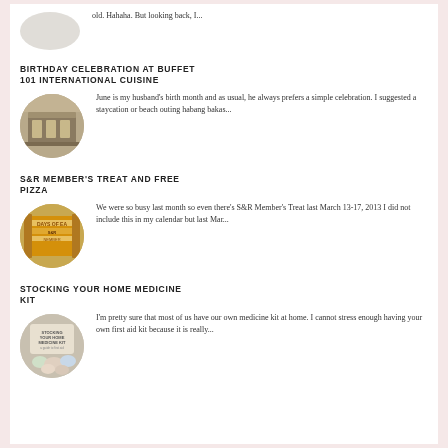old. Hahaha. But looking back, I...
BIRTHDAY CELEBRATION AT BUFFET 101 INTERNATIONAL CUISINE
June is my husband's birth month and as usual, he always prefers a simple celebration. I suggested a staycation or beach outing habang bakas...
S&R MEMBER'S TREAT AND FREE PIZZA
We were so busy last month so even there's S&R Member's Treat last March 13-17, 2013 I did not include this in my calendar but last Mar...
STOCKING YOUR HOME MEDICINE KIT
I'm pretty sure that most of us have our own medicine kit at home. I cannot stress enough having your own first aid kit because it is really...